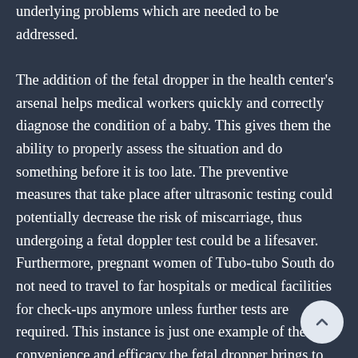underlying problems which are needed to be addressed.

The addition of the fetal dropper in the health center's arsenal helps medical workers quickly and correctly diagnose the condition of a baby. This gives them the ability to properly assess the situation and do something before it is too late. The preventive measures that take place after ultrasonic testing could potentially decrease the risk of miscarriage, thus undergoing a fetal doppler test could be a lifesaver. Furthermore, pregnant women of Tubo-tubo South do not need to travel to far hospitals or medical facilities for check-ups anymore unless further tests are required. This instance is just one example of the convenience and efficacy the fetal dropper brings to medical facilities like Barangay Health Centers.